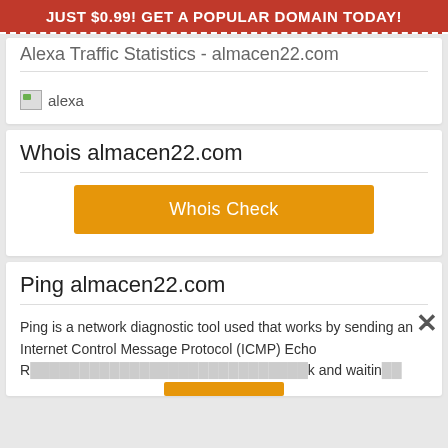JUST $0.99! GET A POPULAR DOMAIN TODAY!
Alexa Traffic Statistics - almacen22.com
[Figure (logo): Alexa logo placeholder image]
Whois almacen22.com
Whois Check
Ping almacen22.com
Ping is a network diagnostic tool used that works by sending an Internet Control Message Protocol (ICMP) Echo R... k and waitin...
[Figure (infographic): Petco ad overlay showing In-store shopping and Curbside pickup with map icon]